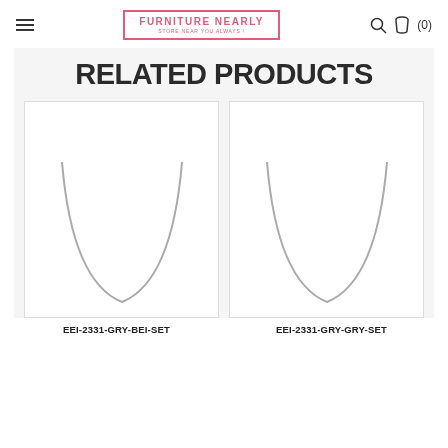FURNITURE NEARLY — STORE NEAR YOU ALWAYS !
RELATED PRODUCTS
[Figure (photo): Product image placeholder for EEI-2331-GRY-BEI-SET showing partial arc/bowl shape outline]
[Figure (photo): Product image placeholder for EEI-2331-GRY-GRY-SET showing partial arc/bowl shape outline]
EEI-2331-GRY-BEI-SET
EEI-2331-GRY-GRY-SET